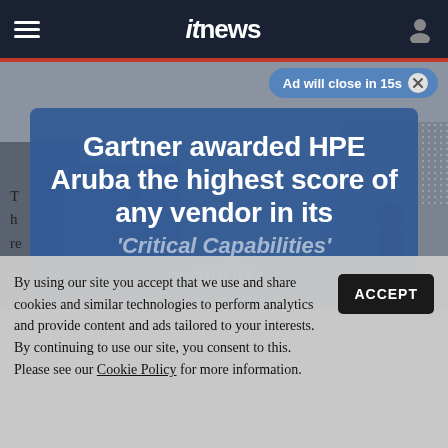itnews
[Figure (screenshot): itnews website screenshot showing navigation bar with hamburger menu, itnews logo, and user icon on dark navy background]
Ad will close in 15s
[Figure (photo): Background photo of an office/corridor with people, partially obscured]
T... h... re... al...
[Figure (infographic): HPE Aruba advertisement overlay: Gartner awarded HPE Aruba the highest score of any vendor in its 'Critical Capabilities' report.]
By using our site you accept that we use and share cookies and similar technologies to perform analytics and provide content and ads tailored to your interests. By continuing to use our site, you consent to this. Please see our Cookie Policy for more information.